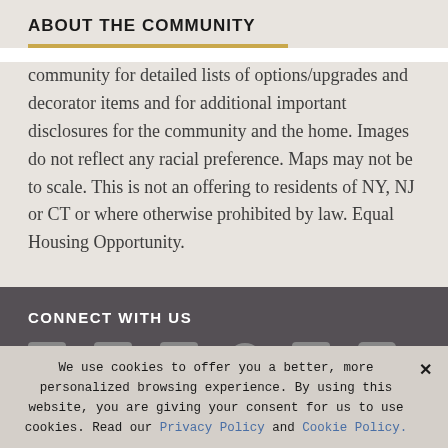ABOUT THE COMMUNITY
community for detailed lists of options/upgrades and decorator items and for additional important disclosures for the community and the home. Images do not reflect any racial preference. Maps may not be to scale. This is not an offering to residents of NY, NJ or CT or where otherwise prohibited by law. Equal Housing Opportunity.
CONNECT WITH US
[Figure (illustration): Social media icons: Facebook, Twitter, YouTube, Pinterest, LinkedIn, Instagram]
We use cookies to offer you a better, more personalized browsing experience. By using this website, you are giving your consent for us to use cookies. Read our Privacy Policy and Cookie Policy.